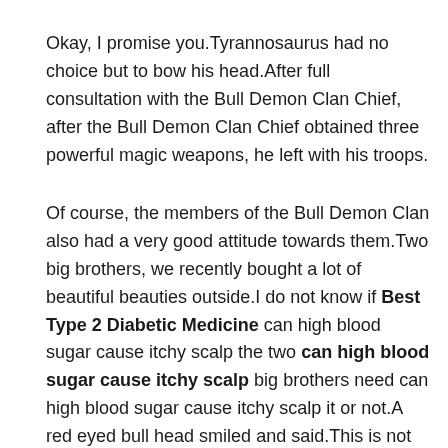Okay, I promise you.Tyrannosaurus had no choice but to bow his head.After full consultation with the Bull Demon Clan Chief, after the Bull Demon Clan Chief obtained three powerful magic weapons, he left with his troops.
Of course, the members of the Bull Demon Clan also had a very good attitude towards them.Two big brothers, we recently bought a lot of beautiful beauties outside.I do not know if Best Type 2 Diabetic Medicine can high blood sugar cause itchy scalp the two can high blood sugar cause itchy scalp big brothers need can high blood sugar cause itchy scalp it or not.A red eyed bull head smiled and said.This is not needed for the time being.Zhao Ling was a little embarrassed to hear this, but he knew that in the very aesthetic concept of the Bull Demon Clan, she might be a beautiful beauty, but in their aesthetic concept, she was extremely ugly, so he refused.